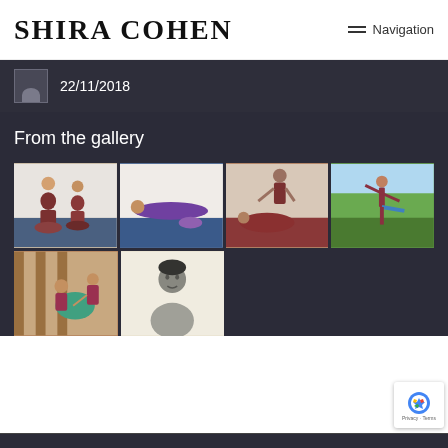SHIRA COHEN   Navigation
22/11/2018
From the gallery
[Figure (photo): Gallery of yoga class photos arranged in a 2-row grid. Top row: 4 photos showing yoga poses and instruction sessions. Bottom row: 2 photos showing yoga instruction and a portrait.]